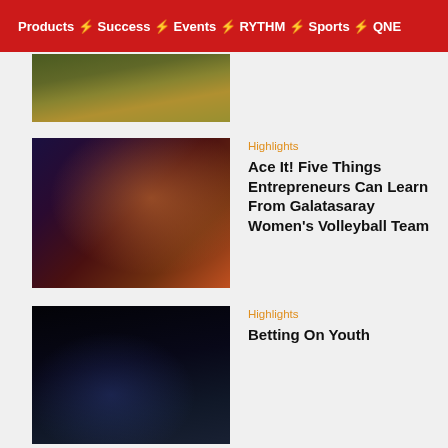Products ⚡ Success ⚡ Events ⚡ RYTHM ⚡ Sports ⚡ QNE
[Figure (photo): Cropped aerial road/track photo]
[Figure (photo): Galatasaray women volleyball team celebrating on court]
Highlights
Ace It! Five Things Entrepreneurs Can Learn From Galatasaray Women's Volleyball Team
[Figure (photo): Soccer players celebrating at night stadium]
Highlights
Betting On Youth
[Figure (photo): Skier on snowy slope]
Sports
Playing It Cool: Lessons from the Winter Olympics